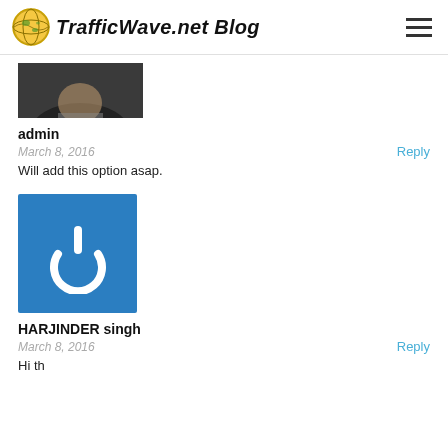TrafficWave.net Blog
[Figure (photo): Partial profile photo of a person in a dark jacket, cropped at the top]
admin
March 8, 2016
Reply
Will add this option asap.
[Figure (logo): Blue square with a white power button icon]
HARJINDER singh
March 8, 2016
Reply
Hi th...